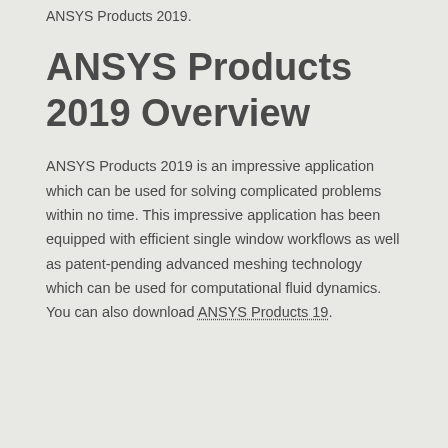ANSYS Products 2019.
ANSYS Products 2019 Overview
ANSYS Products 2019 is an impressive application which can be used for solving complicated problems within no time. This impressive application has been equipped with efficient single window workflows as well as patent-pending advanced meshing technology which can be used for computational fluid dynamics. You can also download ANSYS Products 19.